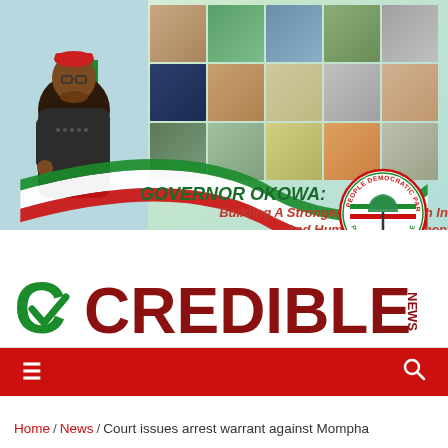[Figure (photo): Banner advertisement for Governor Okowa showing governor photo on left, grid of infrastructure project photos on right, with PDP logo, red/green/white ribbon diagonal stripe, and text 'GOVERNOR OKOWA: Building A Stronger Delta Through Infrastructure And Human Empowerment.']
[Figure (logo): Credible News logo with green/dark-red color scheme showing stylized 'C' checkmark and bold CREDIBLE text with NEWS in vertical text]
≡  🔍
Home / News / Court issues arrest warrant against Mompha